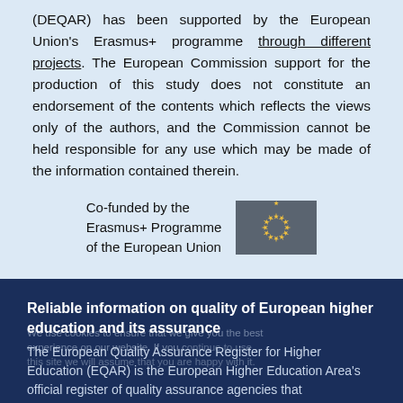(DEQAR) has been supported by the European Union's Erasmus+ programme through different projects. The European Commission support for the production of this study does not constitute an endorsement of the contents which reflects the views only of the authors, and the Commission cannot be held responsible for any use which may be made of the information contained therein.
[Figure (logo): Co-funded by the Erasmus+ Programme of the European Union logo with EU flag showing circle of gold stars on blue background]
Reliable information on quality of European higher education and its assurance
The European Quality Assurance Register for Higher Education (EQAR) is the European Higher Education Area's official register of quality assurance agencies that